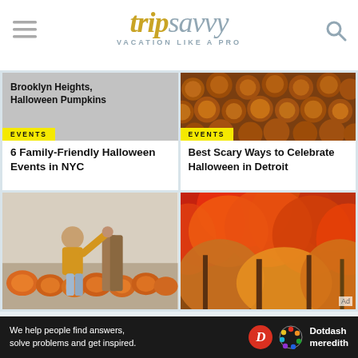trip savvy — VACATION LIKE A PRO
[Figure (screenshot): Gray placeholder image with text: Brooklyn Heights, Halloween Pumpkins]
EVENTS
6 Family-Friendly Halloween Events in NYC
[Figure (photo): Close-up photo of many orange/brown pumpkins]
EVENTS
Best Scary Ways to Celebrate Halloween in Detroit
[Figure (photo): Child in yellow shirt reaching up to adult hand among pumpkins at a pumpkin patch]
[Figure (photo): Autumn forest with bright red and orange foliage]
Ad
We help people find answers, solve problems and get inspired. Dotdash meredith